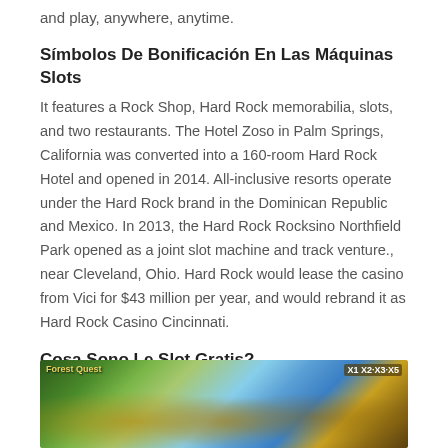and play, anywhere, anytime.
Símbolos De Bonificación En Las Máquinas Slots
It features a Rock Shop, Hard Rock memorabilia, slots, and two restaurants. The Hotel Zoso in Palm Springs, California was converted into a 160-room Hard Rock Hotel and opened in 2014. All-inclusive resorts operate under the Hard Rock brand in the Dominican Republic and Mexico. In 2013, the Hard Rock Rocksino Northfield Park opened as a joint slot machine and track venture., near Cleveland, Ohio. Hard Rock would lease the casino from Vici for $43 million per year, and would rebrand it as Hard Rock Casino Cincinnati.
Cosa Sono Le Slot Gratis?
[Figure (photo): Screenshot of a slot machine game showing golden coin symbols, jungle/forest background, blue sky, and multiplier indicators (X1 X2 X3 X5) in the top right corner.]